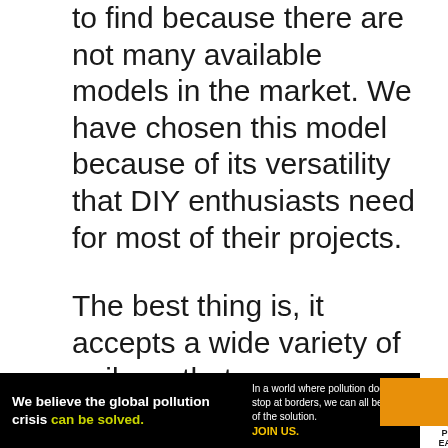to find because there are not many available models in the market. We have chosen this model because of its versatility that DIY enthusiasts need for most of their projects.
The best thing is, it accepts a wide variety of nails so that you can use it for door or window molding installation, picture framing, small upholstery, wooden handiwork, home improvement, and whatnot.
The nailer is really powerful, but the cord length is somewhat limited. You can use a small additional 12 gauge cord if needed; this won't interrupt the power. Besides, there
[Figure (other): Advertisement banner for Pure Earth: 'We believe the global pollution crisis can be solved.' with Pure Earth logo on dark background.]